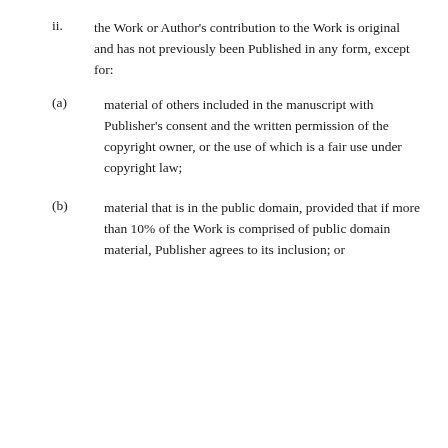ii. the Work or Author's contribution to the Work is original and has not previously been Published in any form, except for:
(a) material of others included in the manuscript with Publisher's consent and the written permission of the copyright owner, or the use of which is a fair use under copyright law;
(b) material that is in the public domain, provided that if more than 10% of the Work is comprised of public domain material, Publisher agrees to its inclusion; or